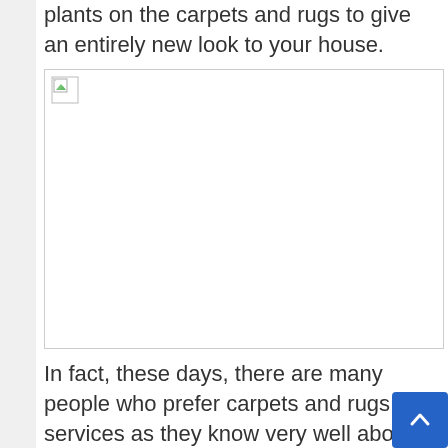plants on the carpets and rugs to give an entirely new look to your house.
[Figure (photo): Broken/unloaded image placeholder with small broken image icon in top-left corner]
In fact, these days, there are many people who prefer carpets and rugs services as they know very well about the benefits of these materials. One of the main advantages of these materials